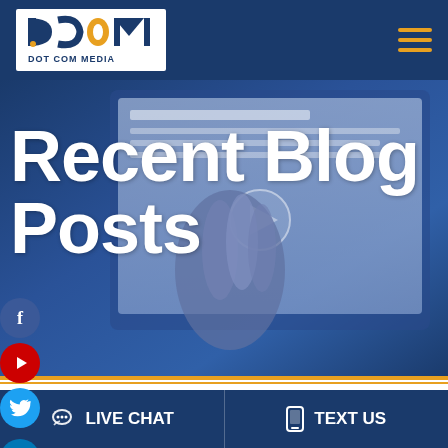DOT COM MEDIA
[Figure (photo): Hero banner background showing a hand using a tablet/digital device, overlaid with blue tinted filter]
Recent Blog Posts
Awesome Tips for Great Video
LIVE CHAT   TEXT US